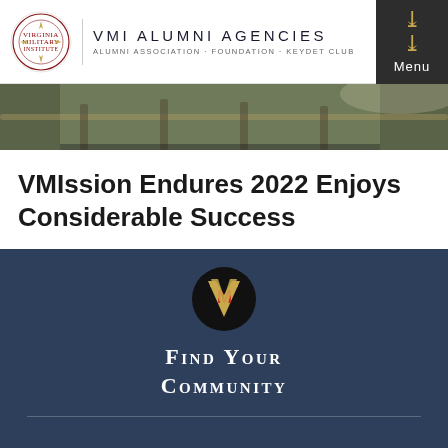VMI ALUMNI AGENCIES
ALUMNI ASSOCIATION · FOUNDATION · KEYDET CLUB
[Figure (photo): Cadets in camouflage uniforms pulling a rope outdoors]
VMIssion Endures 2022 Enjoys Considerable Success
[Figure (logo): Black circle with VMI athletic V-M logo in gold and red, above text FIND YOUR COMMUNITY on dark navy background]
Find Your Community
[Figure (logo): VMI Keydet Club oval badge logo in red and gold]